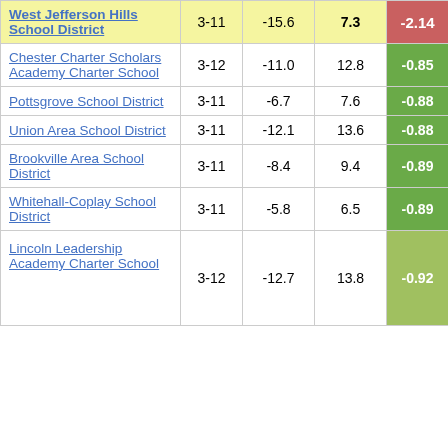| School/District | Grades | Col3 | Col4 | Score |
| --- | --- | --- | --- | --- |
| West Jefferson Hills School District | 3-11 | -15.6 | 7.3 | -2.14 |
| Chester Charter Scholars Academy Charter School | 3-12 | -11.0 | 12.8 | -0.85 |
| Pottsgrove School District | 3-11 | -6.7 | 7.6 | -0.88 |
| Union Area School District | 3-11 | -12.1 | 13.6 | -0.88 |
| Brookville Area School District | 3-11 | -8.4 | 9.4 | -0.89 |
| Whitehall-Coplay School District | 3-11 | -5.8 | 6.5 | -0.89 |
| Lincoln Leadership Academy Charter School | 3-12 | -12.7 | 13.8 | -0.92 |